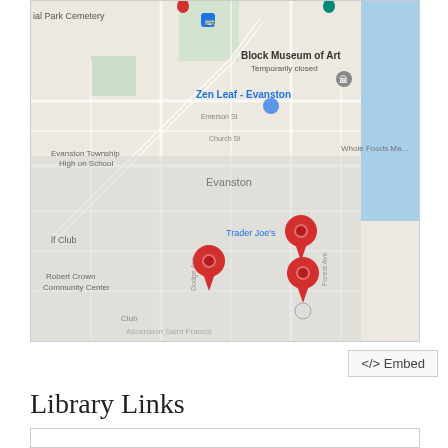[Figure (map): Google Maps screenshot showing Evanston, Illinois area with red location pins marking several points. Map features include Block Museum of Art (Temporarily closed), Zen Leaf - Evanston, Evanston Township High School, Robert Crown Community Center, Trader Joe's, Ascension Saint Francis, and a lake (Lake Michigan) on the right side. Four red pins are visible on the map.]
<> Embed
Library Links